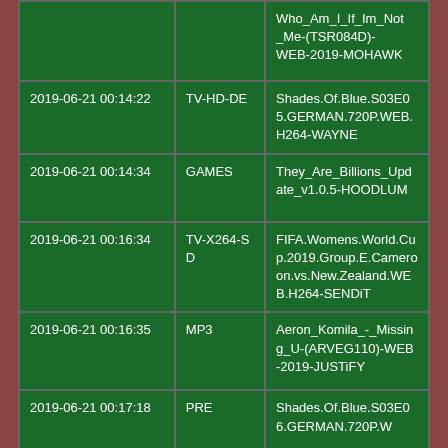| Date | Category | Name |
| --- | --- | --- |
|  |  | Who_Am_I_If_Im_Not_Me-(TSR084D)-WEB-2019-MOHAWK |
| 2019-06-21 00:14:22 | TV-HD-DE | Shades.Of.Blue.S03E05.GERMAN.720P.WEB.H264-WAYNE |
| 2019-06-21 00:14:34 | GAMES | They_Are_Billions_Update_v1.0.5-HOODLUM |
| 2019-06-21 00:16:34 | TV-X264-SD | FIFA.Womens.World.Cup.2019.Group.E.Cameroon.vs.New.Zealand.WEB.H264-SENDiT |
| 2019-06-21 00:16:35 | MP3 | Aeron_Komila_-_Missing_U-(ARVEG110)-WEB-2019-JUSTiFY |
| 2019-06-21 00:17:18 | PRE | Shades.Of.Blue.S03E06.GERMAN.720P.W |